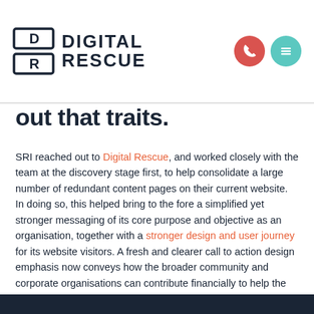Digital Rescue logo and navigation icons
out that traits.
SRI reached out to Digital Rescue, and worked closely with the team at the discovery stage first, to help consolidate a large number of redundant content pages on their current website. In doing so, this helped bring to the fore a simplified yet stronger messaging of its core purpose and objective as an organisation, together with a stronger design and user journey for its website visitors. A fresh and clearer call to action design emphasis now conveys how the broader community and corporate organisations can contribute financially to help the organisation continue its contribution to the research and clinical studies dedicated to helping those affected by spinal cord injuries.